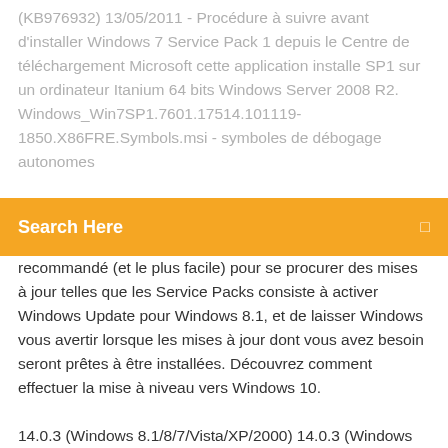(KB976932) 13/05/2011 - Procédure à suivre avant d'installer Windows 7 Service Pack 1 depuis le Centre de téléchargement Microsoft cette application installe SP1 sur un ordinateur Itanium 64 bits Windows Server 2008 R2. Windows_Win7SP1.7601.17514.101119-1850.X86FRE.Symbols.msi - symboles de débogage autonomes
[Figure (other): Orange search bar with text 'Search Here' and a search icon on the right]
recommandé (et le plus facile) pour se procurer des mises à jour telles que les Service Packs consiste à activer Windows Update pour Windows 8.1, et de laisser Windows vous avertir lorsque les mises à jour dont vous avez besoin seront prêtes à être installées. Découvrez comment effectuer la mise à niveau vers Windows 10. 14.0.3 (Windows 8.1/8/7/Vista/XP/2000) 14.0.3 (Windows 8.1 x64/8 x64/7 x64/ Vista64) Windows 8 (64-bit) Windows Vista (64-bit) File version: 14.0.1. 5 May 2020 Note. Supported